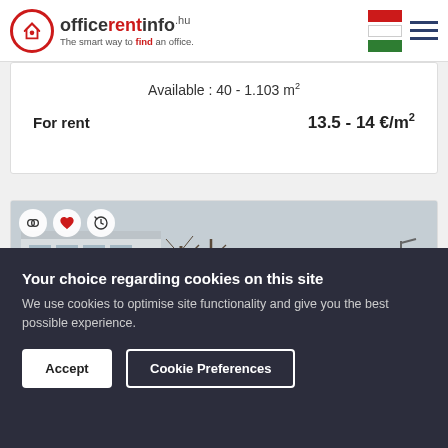officerentinfo.hu - The smart way to find an office.
Available : 40 - 1.103 m²
For rent   13.5 - 14 €/m²
[Figure (photo): Exterior photo of a commercial office building with blue signage reading GYÁLI ÚT 27 ECSERI ÚT 14-16, bare winter trees visible, grey sky]
Your choice regarding cookies on this site
We use cookies to optimise site functionality and give you the best possible experience.
Accept
Cookie Preferences